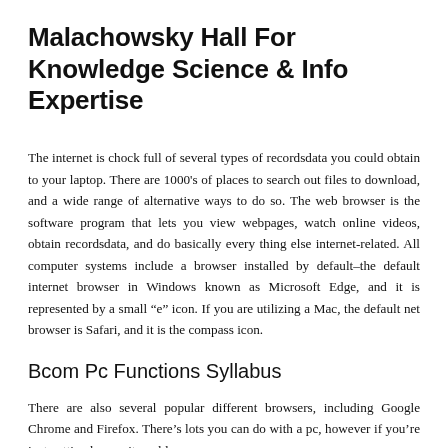Malachowsky Hall For Knowledge Science & Info Expertise
The internet is chock full of several types of recordsdata you could obtain to your laptop. There are 1000's of places to search out files to download, and a wide range of alternative ways to do so. The web browser is the software program that lets you view webpages, watch online videos, obtain recordsdata, and do basically every thing else internet-related. All computer systems include a browser installed by default–the default internet browser in Windows known as Microsoft Edge, and it is represented by a small “e” icon. If you are utilizing a Mac, the default net browser is Safari, and it is the compass icon.
Bcom Pc Functions Syllabus
There are also several popular different browsers, including Google Chrome and Firefox. There’s lots you can do with a pc, however if you’re just getting began, it could possibly present you the abilities while…